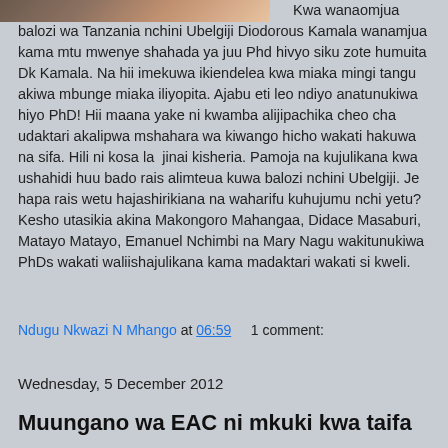[Figure (photo): Partial photo of people at the top left of the page]
Kwa wanaomjua balozi wa Tanzania nchini Ubelgiji Diodorous Kamala wanamjua kama mtu mwenye shahada ya juu Phd hivyo siku zote humuita Dk Kamala. Na hii imekuwa ikiendelea kwa miaka mingi tangu akiwa mbunge miaka iliyopita. Ajabu eti leo ndiyo anatunukiwa hiyo PhD! Hii maana yake ni kwamba alijipachika cheo cha udaktari akalipwa mshahara wa kiwango hicho wakati hakuwa na sifa. Hili ni kosa la jinai kisheria. Pamoja na kujulikana kwa ushahidi huu bado rais alimteua kuwa balozi nchini Ubelgiji. Je hapa rais wetu hajashirikiana na waharifu kuhujumu nchi yetu? Kesho utasikia akina Makongoro Mahangaa, Didace Masaburi, Matayo Matayo, Emanuel Nchimbi na Mary Nagu wakitunukiwa PhDs wakati waliishajulikana kama madaktari wakati si kweli.
Ndugu Nkwazi N Mhango at 06:59    1 comment:
Wednesday, 5 December 2012
Muungano wa EAC ni mkuki kwa taifa